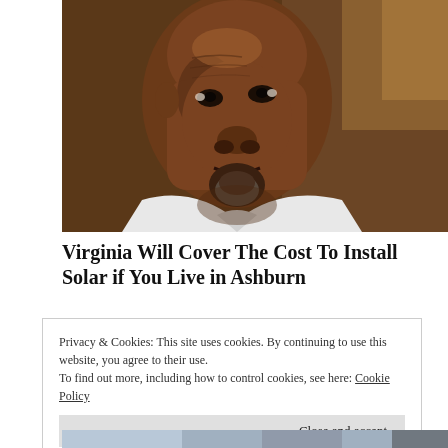[Figure (photo): Close-up portrait of a middle-aged Black man with a goatee, looking slightly to the side, wearing a white shirt. Background is dark brown/wooden.]
Virginia Will Cover The Cost To Install Solar if You Live in Ashburn
Privacy & Cookies: This site uses cookies. By continuing to use this website, you agree to their use.
To find out more, including how to control cookies, see here: Cookie Policy
[Figure (photo): Partial image at the bottom, appears to show a clock or mechanical device in blue/grey tones.]